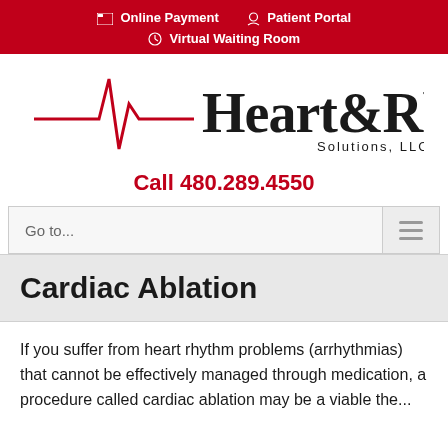Online Payment  Patient Portal  Virtual Waiting Room
[Figure (logo): Heart & Rhythm Solutions, LLC logo with red EKG heartbeat line graphic and bold black text]
Call 480.289.4550
Go to...
Cardiac Ablation
If you suffer from heart rhythm problems (arrhythmias) that cannot be effectively managed through medication, a procedure called cardiac ablation may be a viable the...